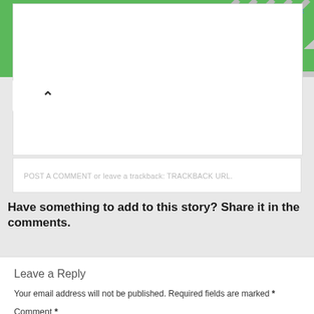[Figure (screenshot): Banner advertisement for Test Gauge Inc. with green background, text 'THE NATIONS PREFERRED SOURCE FOR BACKFLOW PRODUCTS & SERVICES' and 'SHOP TODAY' button]
POST A COMMENT or leave a trackback: TRACKBACK URL.
Have something to add to this story? Share it in the comments.
Leave a Reply
Your email address will not be published. Required fields are marked *
Comment *